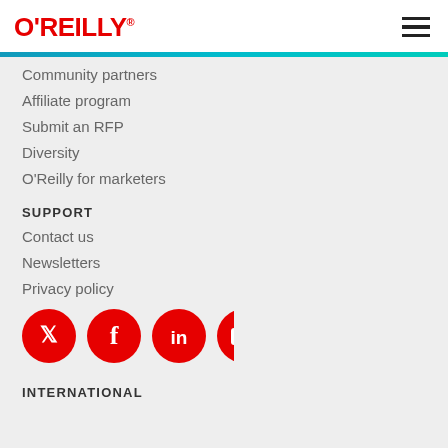O'REILLY
Community partners
Affiliate program
Submit an RFP
Diversity
O'Reilly for marketers
SUPPORT
Contact us
Newsletters
Privacy policy
[Figure (illustration): Social media icons: Twitter, Facebook, LinkedIn, YouTube — all red circles with white logos]
INTERNATIONAL